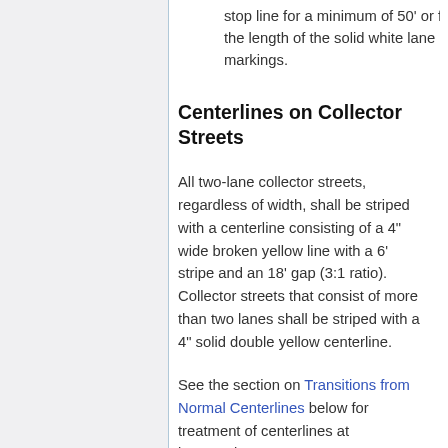stop line for a minimum of 50' or for the length of the solid white lane markings.
Centerlines on Collector Streets
All two-lane collector streets, regardless of width, shall be striped with a centerline consisting of a 4" wide broken yellow line with a 6' stripe and an 18' gap (3:1 ratio). Collector streets that consist of more than two lanes shall be striped with a 4" solid double yellow centerline.
See the section on Transitions from Normal Centerlines below for treatment of centerlines at intersections.
Centerlines on Apartment Streets